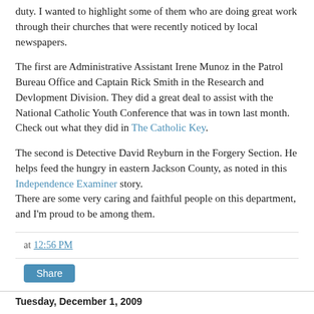duty. I wanted to highlight some of them who are doing great work through their churches that were recently noticed by local newspapers.
The first are Administrative Assistant Irene Munoz in the Patrol Bureau Office and Captain Rick Smith in the Research and Devlopment Division. They did a great deal to assist with the National Catholic Youth Conference that was in town last month. Check out what they did in The Catholic Key.
The second is Detective David Reyburn in the Forgery Section. He helps feed the hungry in eastern Jackson County, as noted in this Independence Examiner story. There are some very caring and faithful people on this department, and I'm proud to be among them.
at 12:56 PM
Share
Tuesday, December 1, 2009